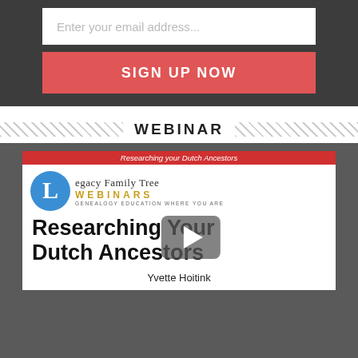[Figure (screenshot): Email signup input field with placeholder text 'Enter your email address...' on dark background]
SIGN UP NOW
WEBINAR
[Figure (screenshot): Legacy Family Tree Webinars video thumbnail for 'Researching Your Dutch Ancestors' by Yvette Hoitink, with play button overlay]